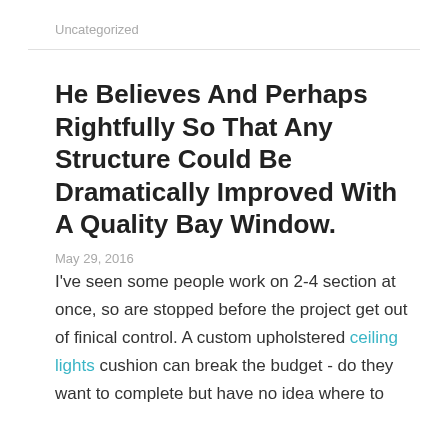Uncategorized
He Believes And Perhaps Rightfully So That Any Structure Could Be Dramatically Improved With A Quality Bay Window.
May 29, 2016
I've seen some people work on 2-4 section at once, so are stopped before the project get out of finical control. A custom upholstered ceiling lights cushion can break the budget - do they want to complete but have no idea where to